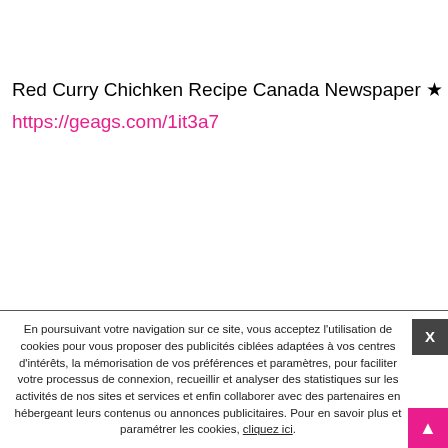Red Curry Chichken Recipe Canada Newspaper ★
https://geags.com/1it3a7
En poursuivant votre navigation sur ce site, vous acceptez l'utilisation de cookies pour vous proposer des publicités ciblées adaptées à vos centres d'intérêts, la mémorisation de vos préférences et paramètres, pour faciliter votre processus de connexion, recueillir et analyser des statistiques sur les activités de nos sites et services et enfin collaborer avec des partenaires en hébergeant leurs contenus ou annonces publicitaires. Pour en savoir plus et paramétrer les cookies, cliquez ici.